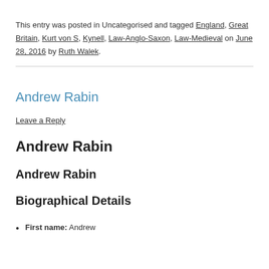This entry was posted in Uncategorised and tagged England, Great Britain, Kurt von S, Kynell, Law-Anglo-Saxon, Law-Medieval on June 28, 2016 by Ruth Walek.
Andrew Rabin
Leave a Reply
Andrew Rabin
Andrew Rabin
Biographical Details
First name: Andrew